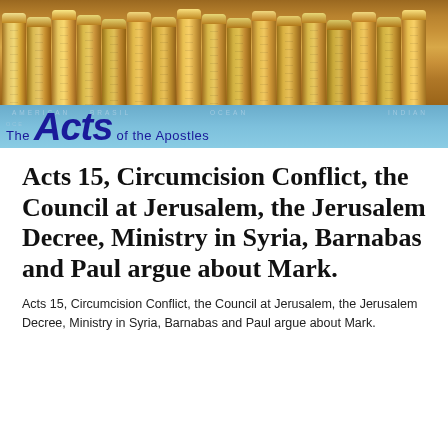[Figure (photo): Decorative architectural photo showing carved stone columns with ornate details, warm golden-brown tones, topped with a blue map band overlay showing The Acts of the Apostles title]
Acts 15, Circumcision Conflict, the Council at Jerusalem, the Jerusalem Decree, Ministry in Syria, Barnabas and Paul argue about Mark.
Acts 15, Circumcision Conflict, the Council at Jerusalem, the Jerusalem Decree, Ministry in Syria, Barnabas and Paul argue about Mark.